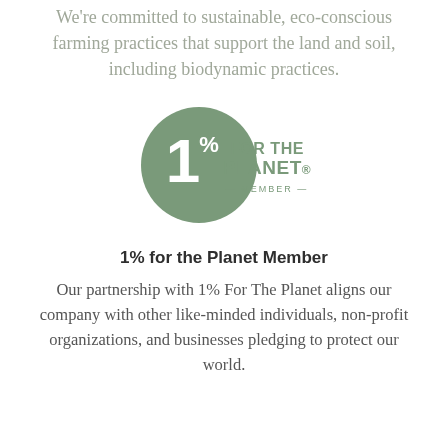We're committed to sustainable, eco-conscious farming practices that support the land and soil, including biodynamic practices.
[Figure (logo): 1% for the Planet Member logo — circular green badge with '1%' numeral and 'FOR THE PLANET — MEMBER —' text]
1% for the Planet Member
Our partnership with 1% For The Planet aligns our company with other like-minded individuals, non-profit organizations, and businesses pledging to protect our world.